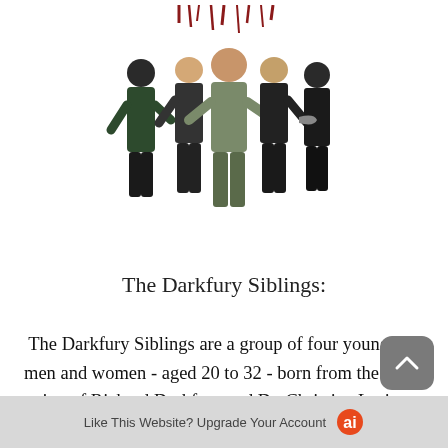[Figure (illustration): Illustration of five people standing together - The Darkfury Siblings group image with red drip elements at the top]
The Darkfury Siblings:
The Darkfury Siblings are a group of four young men and women - aged 20 to 32 - born from the union of Richard Darkfury and Dr. Christine Lorio. From oldest to youngest, they are Marie, Harold, Hayden, and Sarah Darkfury - a news reporter, a retired Marine/covert operative, a gifted
Like This Website? Upgrade Your Account